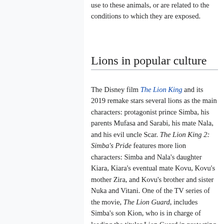use to these animals, or are related to the conditions to which they are exposed.
Lions in popular culture
The Disney film The Lion King and its 2019 remake stars several lions as the main characters: protagonist prince Simba, his parents Mufasa and Sarabi, his mate Nala, and his evil uncle Scar. The Lion King 2: Simba's Pride features more lion characters: Simba and Nala's daughter Kiara, Kiara's eventual mate Kovu, Kovu's mother Zira, and Kovu's brother and sister Nuka and Vitani. One of the TV series of the movie, The Lion Guard, includes Simba's son Kion, who is in charge of leading the titular Lion Guard in protecting the Pride Lands; the